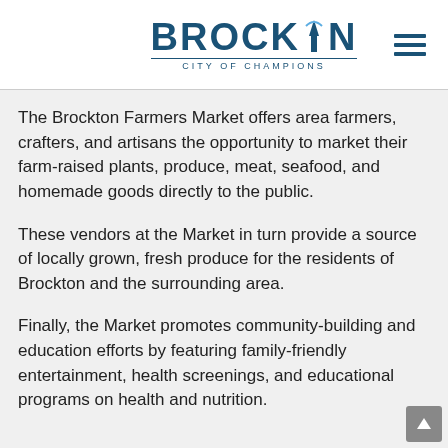BROCKTON CITY OF CHAMPIONS
The Brockton Farmers Market offers area farmers, crafters, and artisans the opportunity to market their farm-raised plants, produce, meat, seafood, and homemade goods directly to the public.
These vendors at the Market in turn provide a source of locally grown, fresh produce for the residents of Brockton and the surrounding area.
Finally, the Market promotes community-building and education efforts by featuring family-friendly entertainment, health screenings, and educational programs on health and nutrition.